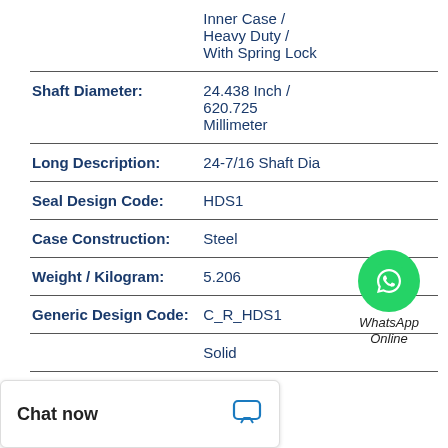| Attribute | Value |
| --- | --- |
|  | Inner Case / Heavy Duty / With Spring Lock |
| Shaft Diameter: | 24.438 Inch / 620.725 Millimeter |
| Long Description: | 24-7/16 Shaft Dia |
| Seal Design Code: | HDS1 |
| Case Construction: | Steel |
| Weight / Kilogram: | 5.206 |
| Generic Design Code: | C_R_HDS1 |
|  | Solid |
WhatsApp Online
Chat now